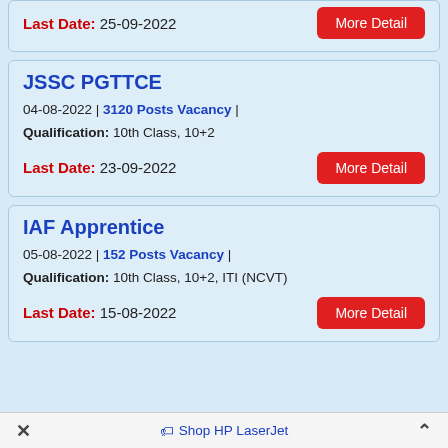Last Date: 25-09-2022
JSSC PGTTCE
04-08-2022 | 3120 Posts Vacancy | Qualification: 10th Class, 10+2
Last Date: 23-09-2022
IAF Apprentice
05-08-2022 | 152 Posts Vacancy | Qualification: 10th Class, 10+2, ITI (NCVT)
Last Date: 15-08-2022
× Shop HP LaserJet ^